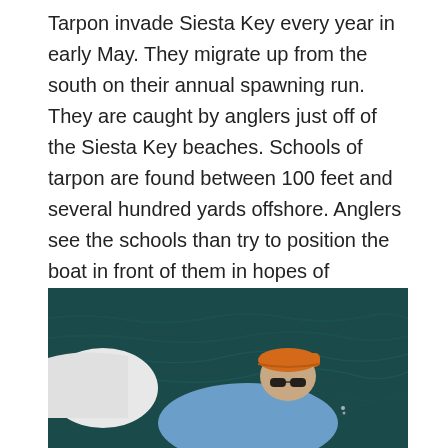Tarpon invade Siesta Key every year in early May. They migrate up from the south on their annual spawning run. They are caught by anglers just off of the Siesta Key beaches. Schools of tarpon are found between 100 feet and several hundred yards offshore. Anglers see the schools than try to position the boat in front of them in hopes of presenting a bait in drawing a strike.
[Figure (photo): A man wearing a blue shirt, sunglasses, and an orange cap leans over the side of a boat on dark teal water, appearing to fish or handle fishing equipment.]